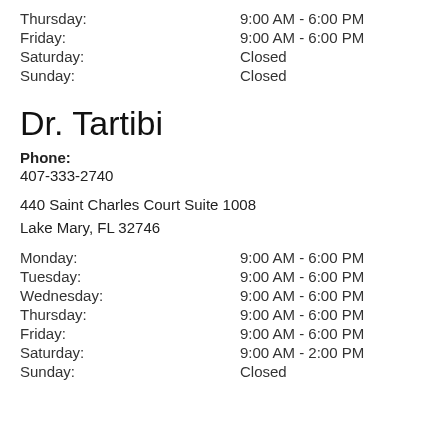Thursday: 9:00 AM - 6:00 PM
Friday: 9:00 AM - 6:00 PM
Saturday: Closed
Sunday: Closed
Dr. Tartibi
Phone:
407-333-2740
440 Saint Charles Court Suite 1008
Lake Mary, FL 32746
Monday: 9:00 AM - 6:00 PM
Tuesday: 9:00 AM - 6:00 PM
Wednesday: 9:00 AM - 6:00 PM
Thursday: 9:00 AM - 6:00 PM
Friday: 9:00 AM - 6:00 PM
Saturday: 9:00 AM - 2:00 PM
Sunday: Closed